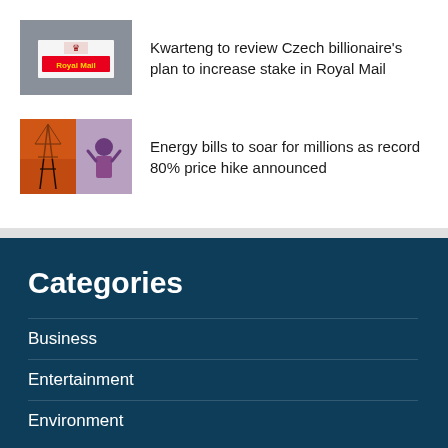[Figure (photo): Royal Mail sign on a building]
Kwarteng to review Czech billionaire’s plan to increase stake in Royal Mail
[Figure (photo): Energy pylons and person looking distressed, energy bills concept]
Energy bills to soar for millions as record 80% price hike announced
Categories
Business
Entertainment
Environment